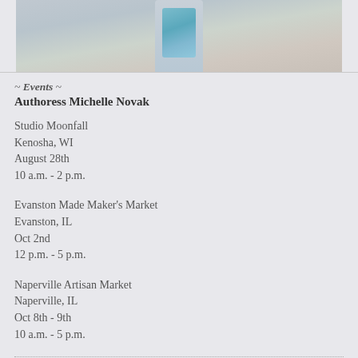[Figure (photo): Cropped photo of a person holding a book with a blue/teal cover, wearing a light gray top. Only the torso and hands are visible.]
~ Events ~
Authoress Michelle Novak
Studio Moonfall
Kenosha, WI
August 28th
10 a.m. - 2 p.m.
Evanston Made Maker's Market
Evanston, IL
Oct 2nd
12 p.m. - 5 p.m.
Naperville Artisan Market
Naperville, IL
Oct 8th - 9th
10 a.m. - 5 p.m.